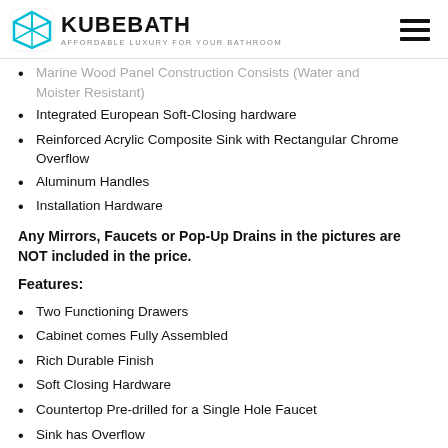KUBEBATH — AFFORDABLE LUXURY FOR YOUR BATHROOM
Marine Wood Panel Construction Consists (Water and Moister Resistant)
Integrated European Soft-Closing hardware
Reinforced Acrylic Composite Sink with Rectangular Chrome Overflow
Aluminum Handles
Installation Hardware
Any Mirrors, Faucets or Pop-Up Drains in the pictures are NOT included in the price.
Features:
Two Functioning Drawers
Cabinet comes Fully Assembled
Rich Durable Finish
Soft Closing Hardware
Countertop Pre-drilled for a Single Hole Faucet
Sink has Overflow
Style: Modern
1 Year Manufacturer Warranty